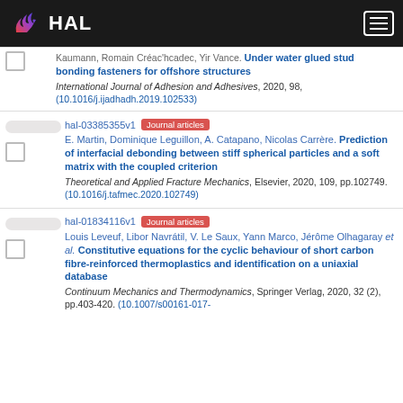HAL
Kaumann, Romain Créac'hcadec, Yir Vance. Under water glued stud bonding fasteners for offshore structures. International Journal of Adhesion and Adhesives, 2020, 98, (10.1016/j.ijadhadh.2019.102533)
hal-03385355v1 Journal articles. E. Martin, Dominique Leguillon, A. Catapano, Nicolas Carrère. Prediction of interfacial debonding between stiff spherical particles and a soft matrix with the coupled criterion. Theoretical and Applied Fracture Mechanics, Elsevier, 2020, 109, pp.102749. (10.1016/j.tafmec.2020.102749)
hal-01834116v1 Journal articles. Louis Leveuf, Libor Navrátil, V. Le Saux, Yann Marco, Jérôme Olhagaray et al. Constitutive equations for the cyclic behaviour of short carbon fibre-reinforced thermoplastics and identification on a uniaxial database. Continuum Mechanics and Thermodynamics, Springer Verlag, 2020, 32 (2), pp.403-420. (10.1007/s00161-017-